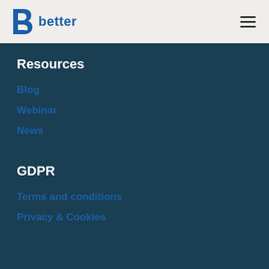better
Resources
Blog
Webinar
News
GDPR
Terms and conditions
Privacy & Cookies